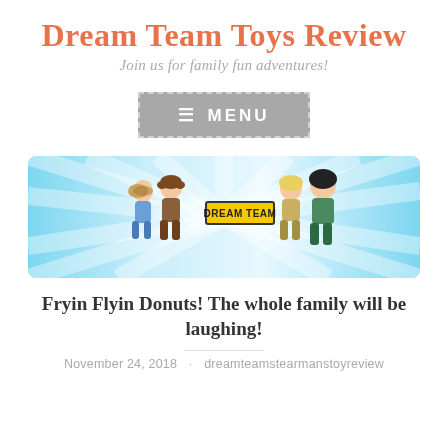Dream Team Toys Review
Join us for family fun adventures!
[Figure (infographic): Gray menu button with dashed border, hamburger icon and MENU text in white on gray background]
[Figure (illustration): Dream Team Toys Review banner with light blue ray background and four cartoon chibi characters with a yellow DREAM TEAM logo in the center]
Fryin Flyin Donuts! The whole family will be laughing!
November 24, 2018 · dreamteamstearmanstoyreview